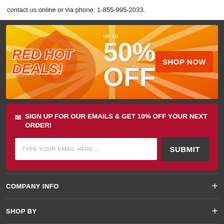contact us online or via phone: 1-855-995-2033.
[Figure (infographic): Red Hot Deals banner with yellow-orange gradient background and ray pattern. Left side shows 'RED HOT DEALS!' text in orange italic font. Center shows 'up to 50% OFF' in large white bold text. Right side has an orange 'SHOP NOW' button.]
SIGN UP FOR OUR EMAILS & GET 10% OFF YOUR NEXT ORDER!
TYPE YOUR EMAIL HERE...
SUBMIT
COMPANY INFO
SHOP BY
MY ACCOUNT